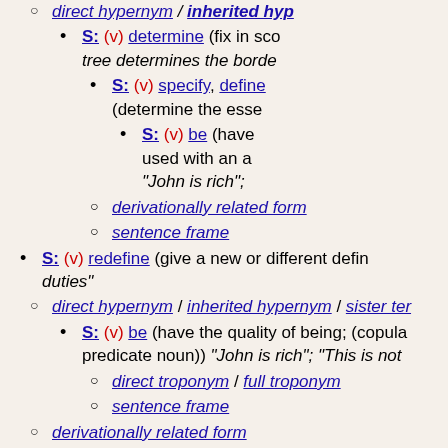direct hypernym / inherited hyp...
S: (v) determine (fix in sco... tree determines the borde...
S: (v) specify, define (determine the esse...
S: (v) be (have... used with an a... "John is rich";
derivationally related form
sentence frame
S: (v) redefine (give a new or different defin... duties"
direct hypernym / inherited hypernym / sister ter...
S: (v) be (have the quality of being; (copula... predicate noun)) "John is rich"; "This is not...
direct troponym / full troponym
sentence frame
derivationally related form
sentence frame
Something ----s something
S: (v) subtend, delimit (be opposite to; of angles and s...
S: (v) demarcate, delimit, delimitate (set, mark, or dra... something)